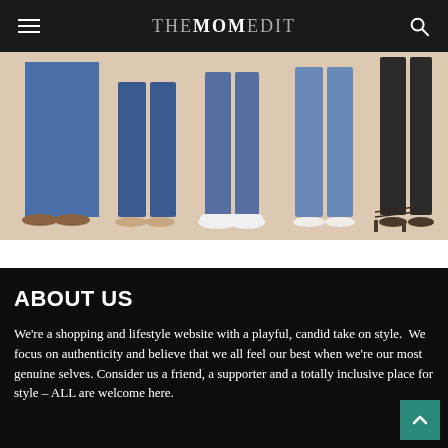THE MOM EDIT
[Figure (photo): Lower halves of multiple people wearing different styles of jeans and sandals/heels against a pink/beige background]
ABOUT US
We're a shopping and lifestyle website with a playful, candid take on style.  We focus on authenticity and believe that we all feel our best when we're our most genuine selves. Consider us a friend, a supporter and a totally inclusive place for style – ALL are welcome here.